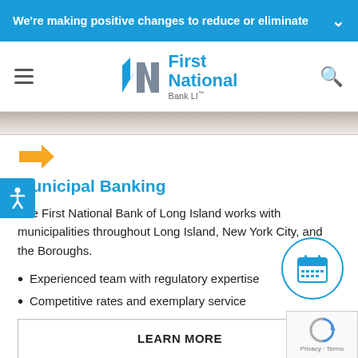We're making positive changes to reduce or eliminate
[Figure (logo): First National Bank LI logo with stylized arrow/N mark in blue and gray]
[Figure (photo): Partial decorative image strip, gray-toned]
[Figure (illustration): Yellow/orange right-pointing arrow icon]
Municipal Banking
The First National Bank of Long Island works with municipalities throughout Long Island, New York City, and the Boroughs.
Experienced team with regulatory expertise
Competitive rates and exemplary service
LEARN MORE